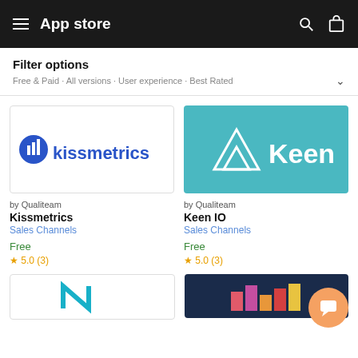App store
Filter options
Free & Paid · All versions · User experience · Best Rated
[Figure (logo): Kissmetrics logo - blue icon and wordmark on white background]
by Qualiteam
Kissmetrics
Sales Channels
Free
★ 5.0 (3)
[Figure (logo): Keen IO logo - white triangle mountain logo and wordmark on teal/blue background]
by Qualiteam
Keen IO
Sales Channels
Free
★ 5.0 (3)
[Figure (logo): Partial logo visible - teal/blue stylized letters on white]
[Figure (logo): Partial logo visible - colorful bar chart style blocks on dark navy background]